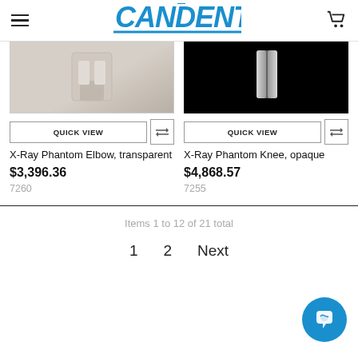CANDENT
[Figure (photo): X-Ray Phantom Elbow product photo, transparent material, light gray background]
[Figure (photo): X-Ray Phantom Knee product photo, opaque, shown on dark/black background with bright X-ray glow]
QUICK VIEW
QUICK VIEW
X-Ray Phantom Elbow, transparent
$3,396.36
7260
X-Ray Phantom Knee, opaque
$4,868.57
7255
Items 1 to 12 of 21 total
1  2  Next